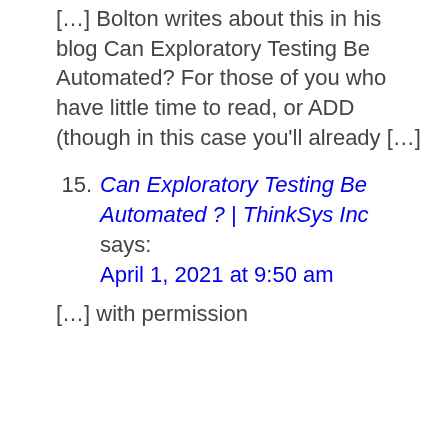[…] Bolton writes about this in his blog Can Exploratory Testing Be Automated? For those of you who have little time to read, or ADD (though in this case you'll already […]
15. Can Exploratory Testing Be Automated ? | ThinkSys Inc says: April 1, 2021 at 9:50 am
[…] with permission